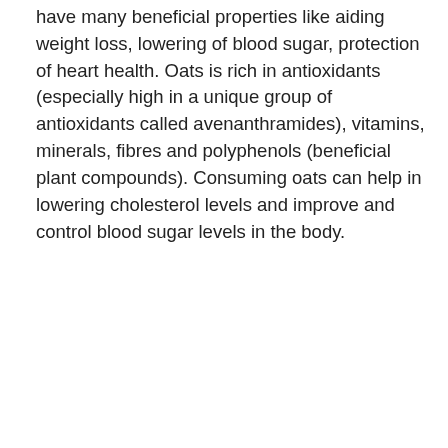have many beneficial properties like aiding weight loss, lowering of blood sugar, protection of heart health. Oats is rich in antioxidants (especially high in a unique group of antioxidants called avenanthramides), vitamins, minerals, fibres and polyphenols (beneficial plant compounds). Consuming oats can help in lowering cholesterol levels and improve and control blood sugar levels in the body.